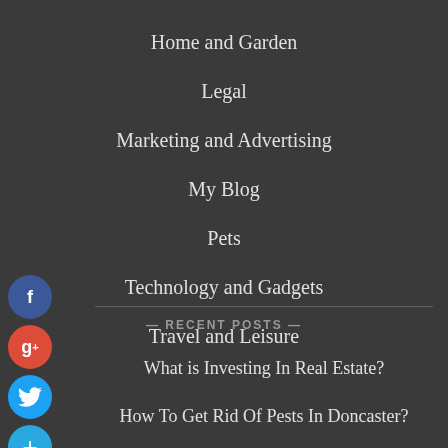Home and Garden
Legal
Marketing and Advertising
My Blog
Pets
Technology and Gadgets
Travel and Leisure
— RECENT POSTS —
What is Investing In Real Estate?
How To Get Rid Of Pests In Doncaster?